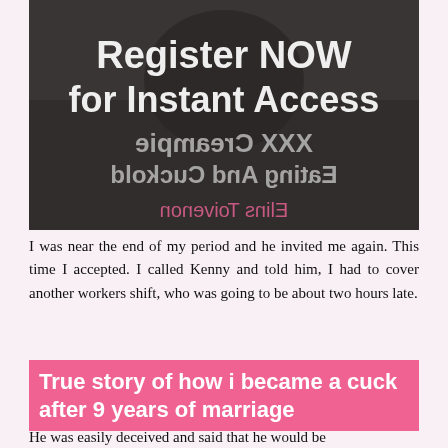[Figure (illustration): Dark greyscale image of people in the background. White bold text overlay reads 'Register NOW for Instant Access'. Below in mirrored/reversed text: 'XXX Creampie Eating And Cuckold' and author name 'Elins Toivenon'.]
I was near the end of my period and he invited me again. This time I accepted. I called Kenny and told him, I had to cover another workers shift, who was going to be about two hours late.
True story of how i became a cuck after 9 years of marriage
He was easily deceived and said that he would be